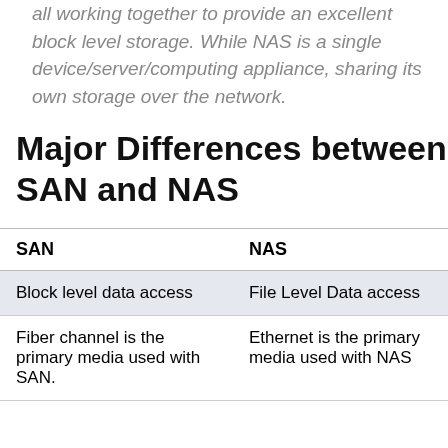all working together to provide an excellent block level storage. While NAS is a single device/server/computing appliance, sharing its own storage over the network.
Major Differences between SAN and NAS
| SAN | NAS |
| --- | --- |
| Block level data access | File Level Data access |
| Fiber channel is the primary media used with SAN. | Ethernet is the primary media used with NAS |